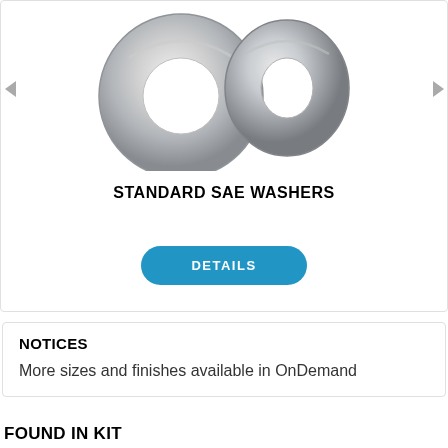[Figure (photo): Two metallic flat washers (Standard SAE Washers) shown side by side — one larger round washer and one slightly smaller, both with center holes, silver/chrome finish.]
STANDARD SAE WASHERS
DETAILS
NOTICES
More sizes and finishes available in OnDemand
FOUND IN KIT
ASST SHEET METAL SCREW PAN PR ZN 1850 ... 100